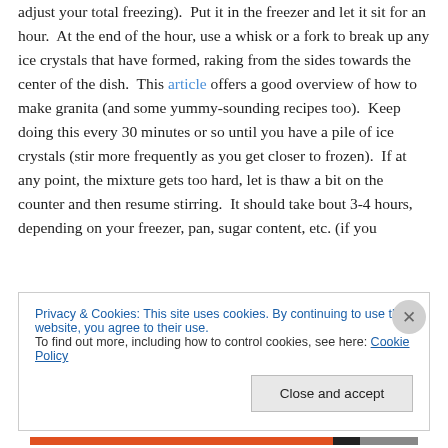adjust your total freezing).  Put it in the freezer and let it sit for an hour.  At the end of the hour, use a whisk or a fork to break up any ice crystals that have formed, raking from the sides towards the center of the dish.  This article offers a good overview of how to make granita (and some yummy-sounding recipes too).  Keep doing this every 30 minutes or so until you have a pile of ice crystals (stir more frequently as you get closer to frozen).  If at any point, the mixture gets too hard, let is thaw a bit on the counter and then resume stirring.  It should take bout 3-4 hours, depending on your freezer, pan, sugar content, etc. (if you
Privacy & Cookies: This site uses cookies. By continuing to use this website, you agree to their use.
To find out more, including how to control cookies, see here: Cookie Policy
Close and accept